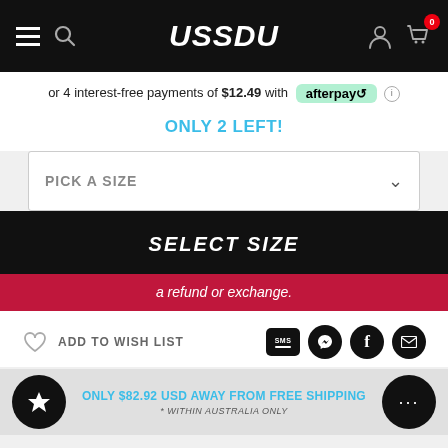USSDU
or 4 interest-free payments of $12.49 with afterpay
ONLY 2 LEFT!
PICK A SIZE
SELECT SIZE
a refund or exchange.
ADD TO WISH LIST
ONLY $82.92 USD AWAY FROM FREE SHIPPING
* WITHIN AUSTRALIA ONLY